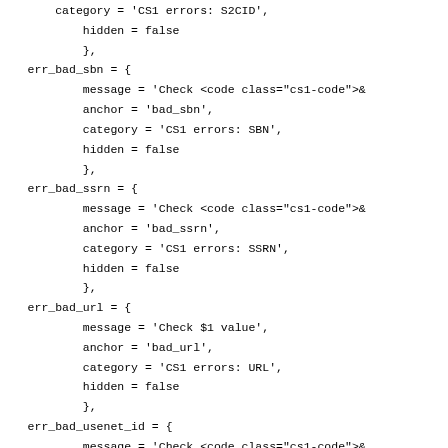category = 'CS1 errors: S2CID',
            hidden = false
            },
        err_bad_sbn = {
                message = 'Check <code class="cs1-code">&
                anchor = 'bad_sbn',
                category = 'CS1 errors: SBN',
                hidden = false
                },
        err_bad_ssrn = {
                message = 'Check <code class="cs1-code">&
                anchor = 'bad_ssrn',
                category = 'CS1 errors: SSRN',
                hidden = false
                },
        err_bad_url = {
                message = 'Check $1 value',
                anchor = 'bad_url',
                category = 'CS1 errors: URL',
                hidden = false
                },
        err_bad_usenet_id = {
                message = 'Check <code class="cs1-code">&
                anchor = 'bad_message_id',
                category = 'CS1 errors: message-id',
                hidden = false
                },
        err_bad_zbl = {
                message = 'Check <code class="cs1-code">&
                anchor = 'bad_zbl',